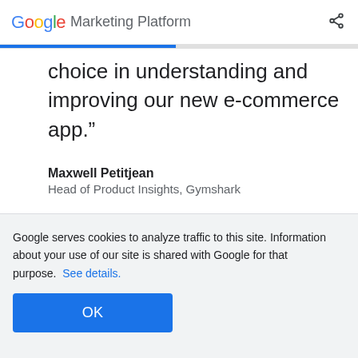Google Marketing Platform
choice in understanding and improving our new e-commerce app.”
Maxwell Petitjean
Head of Product Insights, Gymshark
Google serves cookies to analyze traffic to this site. Information about your use of our site is shared with Google for that purpose. See details.